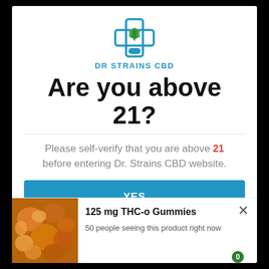[Figure (logo): Dr Strains CBD logo: blue medical cross with green cannabis leaf inside, blue pill/capsule at base, text DR STRAINS CBD in blue below]
Are you above 21?
Please self-verify that you are above 21 before entering Dr. Strains CBD website.
YES
NO
[Figure (screenshot): Shopping cart floating button with green badge showing 0]
125 mg THC-o Gummies
50 people seeing this product right now